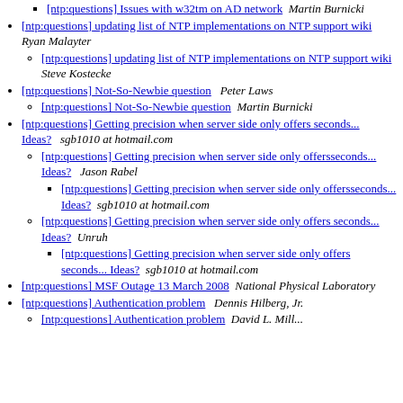[ntp:questions] Issues with w32tm on AD network  Martin Burnicki
[ntp:questions] updating list of NTP implementations on NTP support wiki  Ryan Malayter
[ntp:questions] updating list of NTP implementations on NTP support wiki  Steve Kostecke
[ntp:questions] Not-So-Newbie question   Peter Laws
[ntp:questions] Not-So-Newbie question   Martin Burnicki
[ntp:questions] Getting precision when server side only offers seconds... Ideas?   sgb1010 at hotmail.com
[ntp:questions] Getting precision when server side only offersseconds... Ideas?   Jason Rabel
[ntp:questions] Getting precision when server side only offersseconds... Ideas?   sgb1010 at hotmail.com
[ntp:questions] Getting precision when server side only offers seconds... Ideas?   Unruh
[ntp:questions] Getting precision when server side only offers seconds... Ideas?   sgb1010 at hotmail.com
[ntp:questions] MSF Outage 13 March 2008   National Physical Laboratory
[ntp:questions] Authentication problem   Dennis Hilberg, Jr.
[ntp:questions] Authentication problem   David L. Mill...